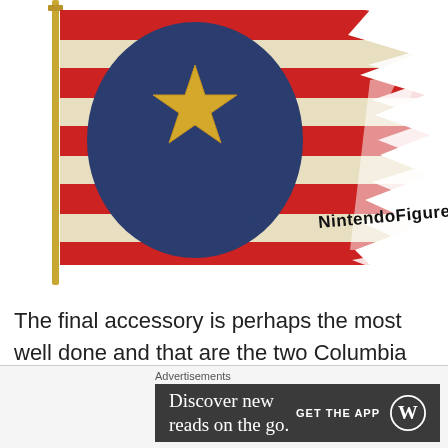[Figure (illustration): A weathered Columbia flag with red and cream horizontal stripes, a dark blue circular shield with a gold star, torn/ragged right edge. Watermark text 'NintendoFigures.com' in bold black font overlaid on the lower right of the flag.]
The final accessory is perhaps the most well done and that are the two Columbia flags that go on the back of the figure.  These things not only fill out the figure, but they just look awesome.  The weathering on the flag fits these well-used machines perfectly and the flags make the
Advertisements
Discover new reads on the go.  GET THE APP